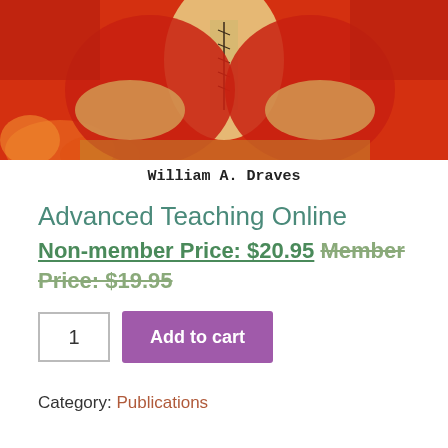[Figure (illustration): Cropped book cover image showing a painted figure in red and yellow/gold colors against an orange-red background, partially visible.]
William A. Draves
Advanced Teaching Online
Non-member Price: $20.95 Member Price: $19.95
Add to cart (quantity: 1)
Category: Publications